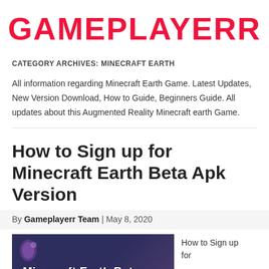GAMEPLAYERR
CATEGORY ARCHIVES: MINECRAFT EARTH
All information regarding Minecraft Earth Game. Latest Updates, New Version Download, How to Guide, Beginners Guide. All updates about this Augmented Reality Minecraft earth Game.
How to Sign up for Minecraft Earth Beta Apk Version
By Gameplayerr Team | May 8, 2020
[Figure (photo): Screenshot image with text 'Minecraft Earth Beta' on a dark blue/purple background with decorative elements]
How to Sign up for